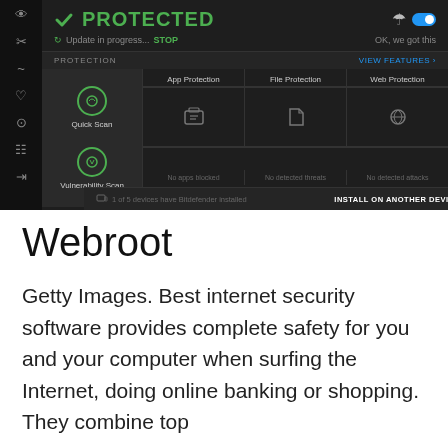[Figure (screenshot): Bitdefender antivirus dashboard screenshot showing PROTECTED status in green, with Quick Scan and Vulnerability Scan options on left, and App Protection, File Protection, Web Protection columns on right. Dark theme UI.]
Webroot
Getty Images. Best internet security software provides complete safety for you and your computer when surfing the Internet, doing online banking or shopping. They combine top security features like firewalls, VPN...